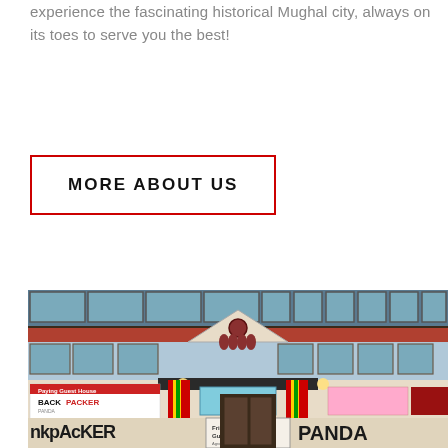experience the fascinating historical Mughal city, always on its toes to serve you the best!
MORE ABOUT US
[Figure (photo): Exterior of a building with colorful red, yellow, and green striped pillars. Signs visible include 'Backpacker Panda', 'Friends Paying Guest House', 'PANDA', and other hostel/guesthouse signage. The building facade has a triangular pediment with windows above.]